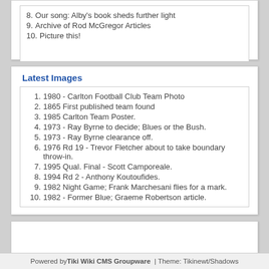8. Our song: Alby's book sheds further light
9. Archive of Rod McGregor Articles
10. Picture this!
Latest Images
1. 1980 - Carlton Football Club Team Photo
2. 1865 First published team found
3. 1985 Carlton Team Poster.
4. 1973 - Ray Byrne to decide; Blues or the Bush.
5. 1973 - Ray Byrne clearance off.
6. 1976 Rd 19 - Trevor Fletcher about to take boundary throw-in.
7. 1995 Qual. Final - Scott Camporeale.
8. 1994 Rd 2 - Anthony Koutoufides.
9. 1982 Night Game; Frank Marchesani flies for a mark.
10. 1982 - Former Blue; Graeme Robertson article.
Powered by Tiki Wiki CMS Groupware  | Theme: Tikinewt/Shadows